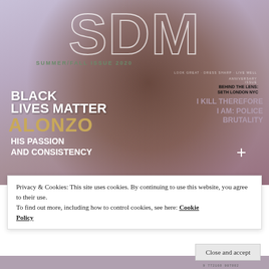[Figure (photo): Magazine cover of SDM Summer/Fall Issue 2020 featuring a shirtless Black man wearing sunglasses, beaded bracelets, and gold chains, with text overlays including BLACK LIVES MATTER, ALONZO, HIS PASSION AND CONSISTENCY, BEHIND THE LENS: SETH LONDON NYC, and I KILL THEREFORE I AM: POLICE BRUTALITY]
Privacy & Cookies: This site uses cookies. By continuing to use this website, you agree to their use.
To find out more, including how to control cookies, see here: Cookie Policy
Close and accept